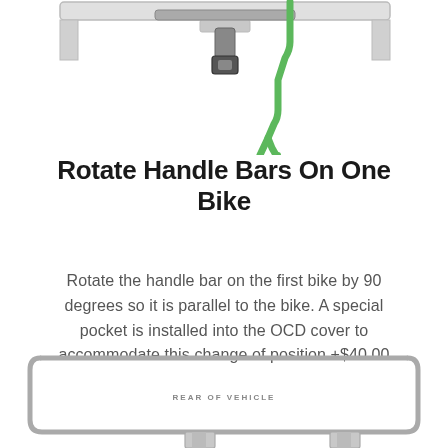[Figure (illustration): Top portion of bike rack diagram showing handlebar area with a green figure/strap hanging down, partial view from above]
Rotate Handle Bars On One Bike
Rotate the handle bar on the first bike by 90 degrees so it is parallel to the bike. A special pocket is installed into the OCD cover to accommodate this change of position +$40.00
[Figure (illustration): Bottom portion of bike rack diagram showing rear of vehicle bracket/mounting system with label REAR OF VEHICLE]